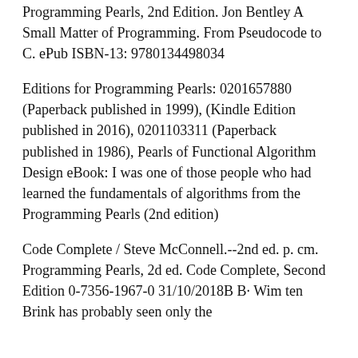Programming Pearls, 2nd Edition. Jon Bentley A Small Matter of Programming. From Pseudocode to C. ePub ISBN-13: 9780134498034
Editions for Programming Pearls: 0201657880 (Paperback published in 1999), (Kindle Edition published in 2016), 0201103311 (Paperback published in 1986), Pearls of Functional Algorithm Design eBook: I was one of those people who had learned the fundamentals of algorithms from the Programming Pearls (2nd edition)
Code Complete / Steve McConnell.--2nd ed. p. cm. Programming Pearls, 2d ed. Code Complete, Second Edition 0-7356-1967-0 31/10/2018B B· Wim ten Brink has probably seen only the